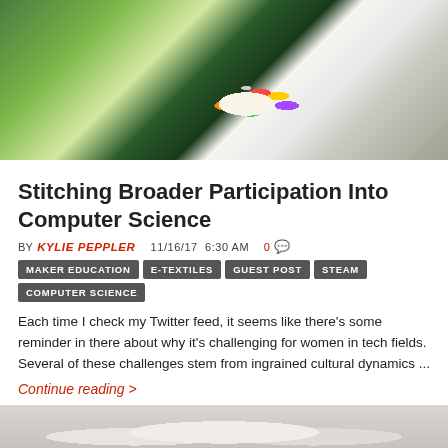[Figure (photo): Overhead view of craft/e-textiles materials including green plaid fabric, a white t-shirt, a rainbow flower pin/button, and a red marker on a brown textured surface]
Stitching Broader Participation Into Computer Science
BY KYLIE PEPPLER  11/16/17  6:30 AM  0 comments
MAKER EDUCATION
E-TEXTILES
GUEST POST
STEAM
COMPUTER SCIENCE
Each time I check my Twitter feed, it seems like there's some reminder in there about why it's challenging for women in tech fields. Several of these challenges stem from ingrained cultural dynamics ...
Continue reading >
[Figure (photo): Partial view of people, bottom of page]